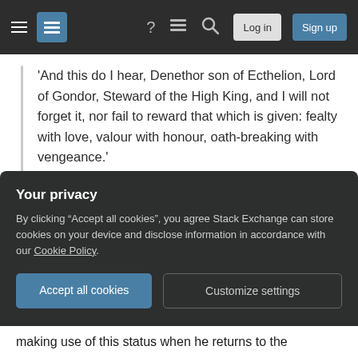Stack Exchange navigation bar with hamburger menu, logo, help, chat, search icons, Log in and Sign up buttons
'And this do I hear, Denethor son of Ecthelion, Lord of Gondor, Steward of the High King, and I will not forget it, nor fail to reward that which is given: fealty with love, valour with honour, oath-breaking with vengeance.'
The Return of the King V.1.
This two-way relationship means that Aragorn, in making use of this status when he returns to the
Your privacy
By clicking “Accept all cookies”, you agree Stack Exchange can store cookies on your device and disclose information in accordance with our Cookie Policy.
Accept all cookies   Customize settings